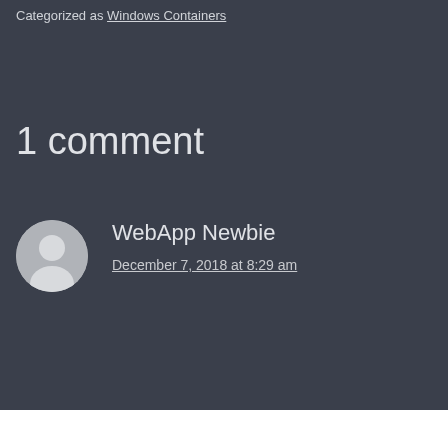Categorized as Windows Containers
1 comment
WebApp Newbie
December 7, 2018 at 8:29 am